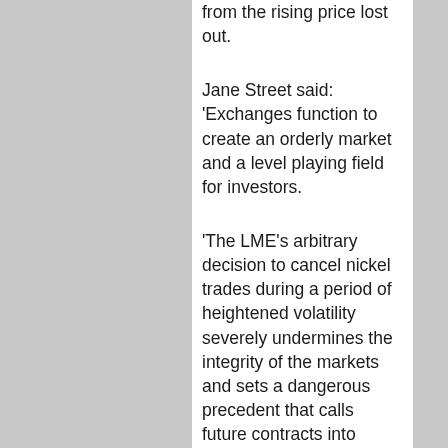from the rising price lost out.
Jane Street said: ‘Exchanges function to create an orderly market and a level playing field for investors.
‘The LME’s arbitrary decision to cancel nickel trades during a period of heightened volatility severely undermines the integrity of the markets and sets a dangerous precedent that calls future contracts into question.’
The LME’s owner, Hong Kong Exchanges and Clearing, said the claim was ‘without merit’ and it would contest it ‘vigorously’.